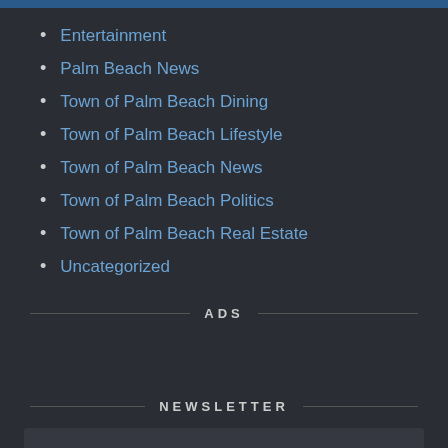Entertainment
Palm Beach News
Town of Palm Beach Dining
Town of Palm Beach Lifestyle
Town of Palm Beach News
Town of Palm Beach Politics
Town of Palm Beach Real Estate
Uncategorized
ADS
NEWSLETTER
SUBSCRIBE TO OUR EMAIL NEWSLETTER.